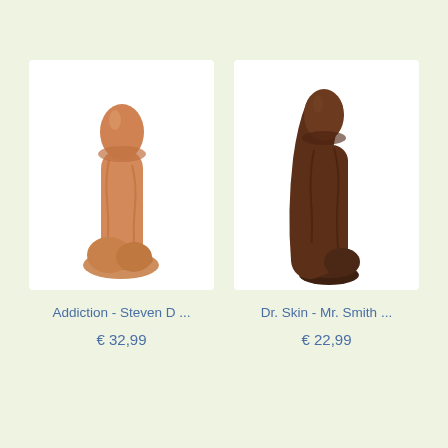[Figure (photo): Product photo of Addiction - Steven D dildo, caramel/tan colored, with suction cup base, on white background]
Addiction - Steven D ...
€ 32,99
[Figure (photo): Product photo of Dr. Skin - Mr. Smith dildo, dark brown colored, with suction cup base, on white background]
Dr. Skin - Mr. Smith ...
€ 22,99